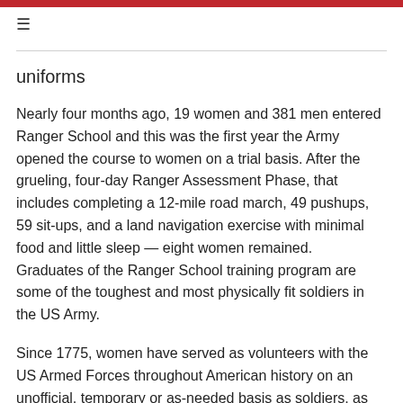≡
uniforms
Nearly four months ago, 19 women and 381 men entered Ranger School and this was the first year the Army opened the course to women on a trial basis. After the grueling, four-day Ranger Assessment Phase, that includes completing a 12-mile road march, 49 pushups, 59 sit-ups, and a land navigation exercise with minimal food and little sleep — eight women remained.  Graduates of the Ranger School training program are some of the toughest and most physically fit soldiers in the US Army.
Since 1775, women have served as volunteers with the US Armed Forces throughout American history on an unofficial, temporary or as-needed basis as soldiers, as